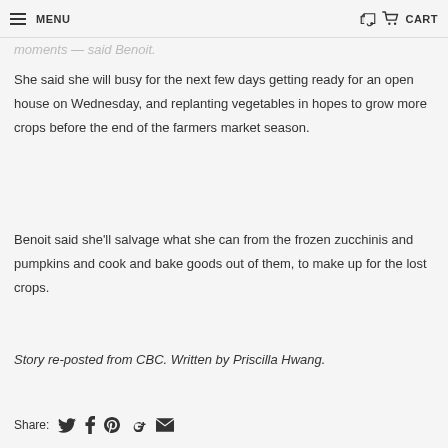MENU  CART
moments — said Benoit.
She said she will busy for the next few days getting ready for an open house on Wednesday, and replanting vegetables in hopes to grow more crops before the end of the farmers market season.
Benoit said she'll salvage what she can from the frozen zucchinis and pumpkins and cook and bake goods out of them, to make up for the lost crops.
Story re-posted from CBC. Written by Priscilla Hwang.
Share: